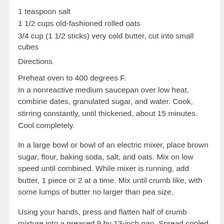1 teaspoon salt
1 1/2 cups old-fashioned rolled oats
3/4 cup (1 1/2 sticks) very cold butter, cut into small cubes
Directions
Preheat oven to 400 degrees F.
In a nonreactive medium saucepan over low heat, combine dates, granulated sugar, and water. Cook, stirring constantly, until thickened, about 15 minutes. Cool completely.
In a large bowl or bowl of an electric mixer, place brown sugar, flour, baking soda, salt, and oats. Mix on low speed until combined. While mixer is running, add butter, 1 piece or 2 at a time. Mix until crumb like, with some lumps of butter no larger than pea size.
Using your hands, press and flatten half of crumb mixture into a greased 9 by 13-inch pan. Spread cooled filling over crust. Cover with remaining crumb